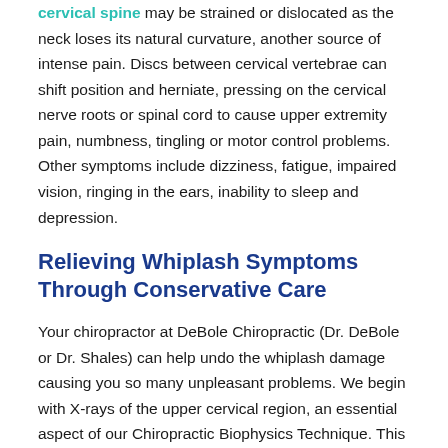cervical spine may be strained or dislocated as the neck loses its natural curvature, another source of intense pain. Discs between cervical vertebrae can shift position and herniate, pressing on the cervical nerve roots or spinal cord to cause upper extremity pain, numbness, tingling or motor control problems. Other symptoms include dizziness, fatigue, impaired vision, ringing in the ears, inability to sleep and depression.
Relieving Whiplash Symptoms Through Conservative Care
Your chiropractor at DeBole Chiropractic (Dr. DeBole or Dr. Shales) can help undo the whiplash damage causing you so many unpleasant problems. We begin with X-rays of the upper cervical region, an essential aspect of our Chiropractic Biophysics Technique. This data helps us identify the specific angles of misalignment produced by the accident. We can then administer targeted chiropractic adjustments to restore the